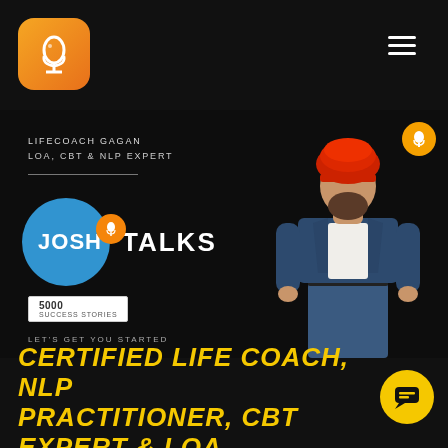[Figure (logo): Orange rounded square logo with white microphone/headphone icon]
[Figure (screenshot): Josh Talks video thumbnail featuring Lifecoach Gagan (LOA, CBT & NLP Expert) wearing red turban and blue blazer, with Josh Talks logo, 5000 success stories badge, and 'Let's get you started' text]
CERTIFIED LIFE COACH, NLP PRACTITIONER, CBT EXPERT & LOA